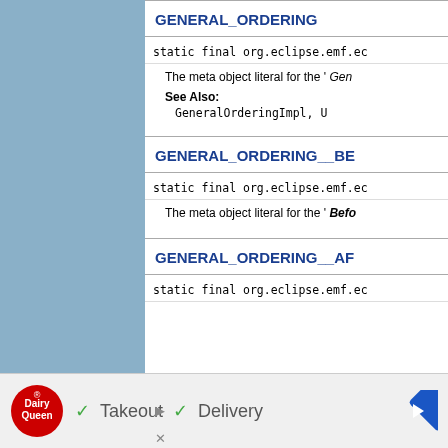GENERAL_ORDERING
static final org.eclipse.emf.ec
The meta object literal for the ' Gen
See Also: GeneralOrderingImpl, U
GENERAL_ORDERING__BE
static final org.eclipse.emf.ec
The meta object literal for the ' Befo
GENERAL_ORDERING__AF
static final org.eclipse.emf.ec
[Figure (other): Dairy Queen advertisement banner with logo, takeout and delivery checkmarks, and navigation arrow]